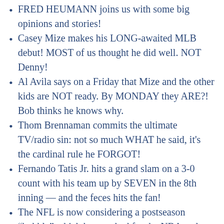FRED HEUMANN joins us with some big opinions and stories!
Casey Mize makes his LONG-awaited MLB debut! MOST of us thought he did well. NOT Denny!
Al Avila says on a Friday that Mize and the other kids are NOT ready. By MONDAY they ARE?! Bob thinks he knows why.
Thom Brennaman commits the ultimate TV/radio sin: not so much WHAT he said, it's the cardinal rule he FORGOT!
Fernando Tatis Jr. hits a grand slam on a 3-0 count with his team up by SEVEN in the 8th inning — and the feces hits the fan!
The NFL is now considering a postseason “bubble” which has worked for the NBA and NHL.
Most of COLLEGE football is not going to